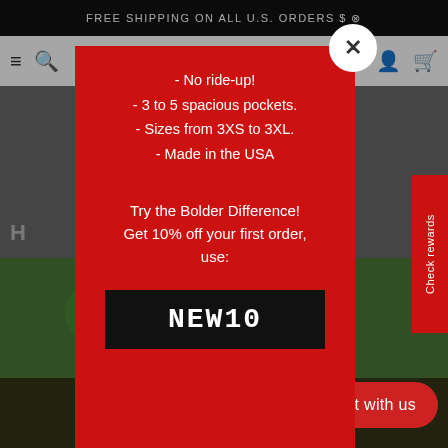FREE SHIPPING ON ALL U.S. ORDERS $
- No ride-up!
- 3 to 5 spacious pockets.
- Sizes from 3XS to 3XL.
- Made in the USA
Try the Bolder Difference! Get 10% off your first order, use:
NEW10
Check rewards
Chat with us